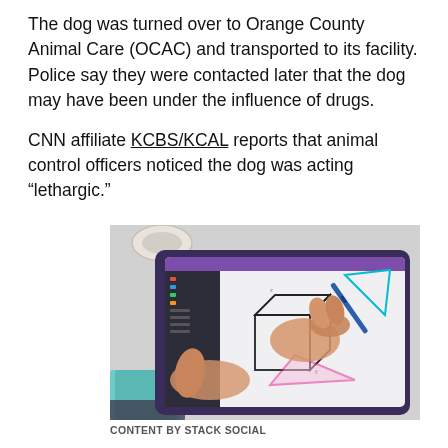The dog was turned over to Orange County Animal Care (OCAC) and transported to its facility. Police say they were contacted later that the dog may have been under the influence of drugs.
CNN affiliate KCBS/KCAL reports that animal control officers noticed the dog was acting “lethargic.”
[Figure (photo): A person's hands using a stylus pen on a tablet device displaying geometric drawings including a 3D cube and triangular shapes in cyan, pink, and black on a digital drawing application. A coffee cup and teal notebook are visible in the background.]
CONTENT BY STACK SOCIAL